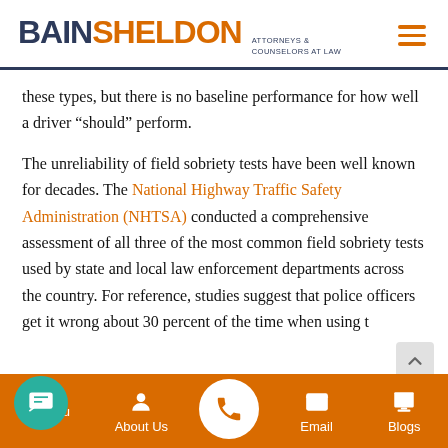BAIN SHELDON ATTORNEYS & COUNSELORS AT LAW
these types, but there is no baseline performance for how well a driver “should” perform.
The unreliability of field sobriety tests have been well known for decades. The National Highway Traffic Safety Administration (NHTSA) conducted a comprehensive assessment of all three of the most common field sobriety tests used by state and local law enforcement departments across the country. For reference, studies suggest that police officers get it wrong about 30 percent of the time when using t…
Menu | About Us | [Phone] | Email | Blogs